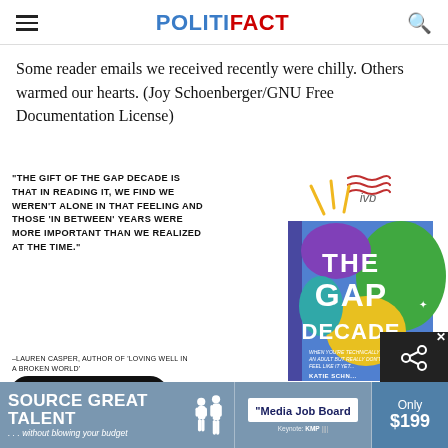POLITIFACT
Some reader emails we received recently were chilly. Others warmed our hearts. (Joy Schoenberger/GNU Free Documentation License)
[Figure (illustration): Advertisement for 'The Gap Decade' book by Katie Schnatz, published by IVP. Contains a quote: 'THE GIFT OF THE GAP DECADE IS THAT IN READING IT, WE FIND WE WEREN'T ALONE IN THAT FEELING AND THOSE 'IN BETWEEN' YEARS WERE MORE IMPORTANT THAN WE REALIZED AT THE TIME.' attributed to Lauren Casper, author of 'Loving Well in a Broken World'. Includes an Amazon pre-order button and the book cover image.]
[Figure (advertisement): Bottom banner advertisement: SOURCE GREAT TALENT ...without blowing your budget. Media Job Board. Only $199.]